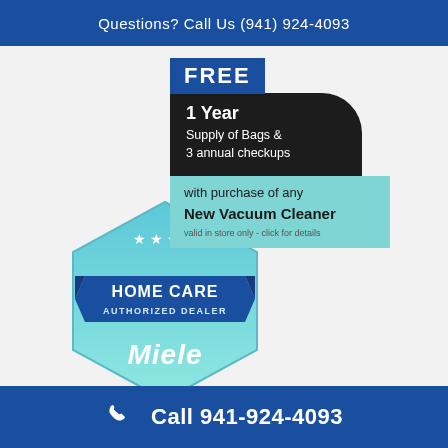Questions? Call Us (941) 924-4093
[Figure (infographic): Promotional badge: FREE 1 Year Supply of Bags & 3 annual checkups with purchase of any New Vacuum Cleaner. valid in store only - click for details]
[Figure (logo): Home Care Authorized Dealer Miele hexagon badge in blue and teal gradient]
Call 941-924-4093